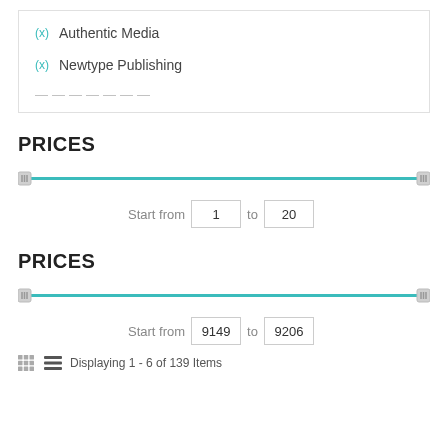(x) Authentic Media
(x) Newtype Publishing
PRICES
[Figure (other): Price range slider from 1 to 20 with teal track and handles]
Start from 1 to 20
PRICES
[Figure (other): Price range slider from 9149 to 9206 with teal track and handles]
Start from 9149 to 9206
Displaying 1 - 6 of 139 Items